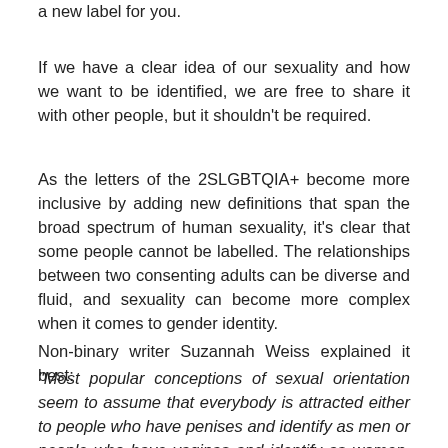a new label for you.
If we have a clear idea of our sexuality and how we want to be identified, we are free to share it with other people, but it shouldn't be required.
As the letters of the 2SLGBTQIA+ become more inclusive by adding new definitions that span the broad spectrum of human sexuality, it's clear that some people cannot be labelled. The relationships between two consenting adults can be diverse and fluid, and sexuality can become more complex when it comes to gender identity.
Non-binary writer Suzannah Weiss explained it best:
"Most popular conceptions of sexual orientation seem to assume that everybody is attracted either to people who have penises and identify as men or people who have vaginas and identify as women. But trans and non-binary people call these assumptions into question: should sexual orientation be defined by your partners' identities or body parts? If your partner is non-binary, what orientation is that?